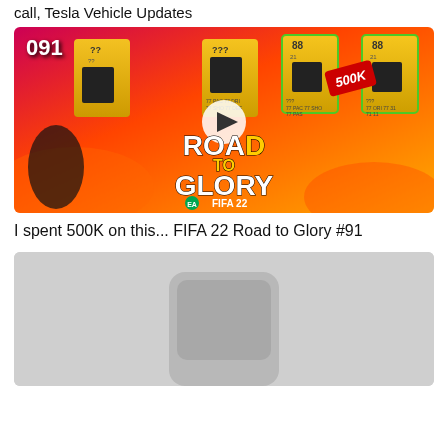call, Tesla Vehicle Updates
[Figure (screenshot): YouTube video thumbnail for FIFA 22 Road to Glory #91. Shows a footballer with surprised expression, player cards with ratings 88 and 91, text 'ROAD TO GLORY', FIFA 22 logo, episode badge '091', and a 500K price tag.]
I spent 500K on this... FIFA 22 Road to Glory #91
[Figure (screenshot): Partially visible video thumbnail with gray background showing a device shape.]